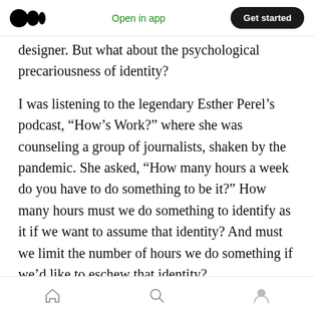Open in app | Get started
designer. But what about the psychological precariousness of identity?
I was listening to the legendary Esther Perel’s podcast, “How’s Work?” where she was counseling a group of journalists, shaken by the pandemic. She asked, “How many hours a week do you have to do something to be it?” How many hours must we do something to identify as it if we want to assume that identity? And must we limit the number of hours we do something if we’d like to eschew that identity?
Home | Search | Profile